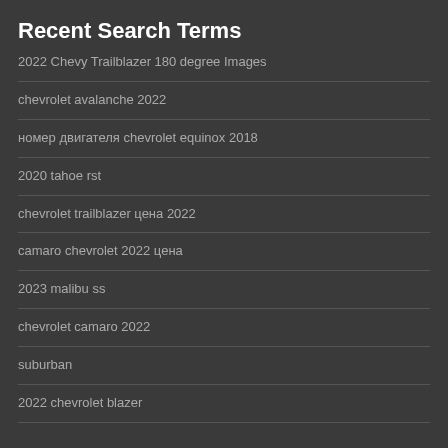Recent Search Terms
2022 Chevy Trailblazer 180 degree Images
chevrolet avalanche 2022
номер двигателя chevrolet equinox 2018
2020 tahoe rst
chevrolet trailblazer цена 2022
camaro chevrolet 2022 цена
2023 malibu ss
chevrolet camaro 2022
suburban
2022 chevrolet blazer